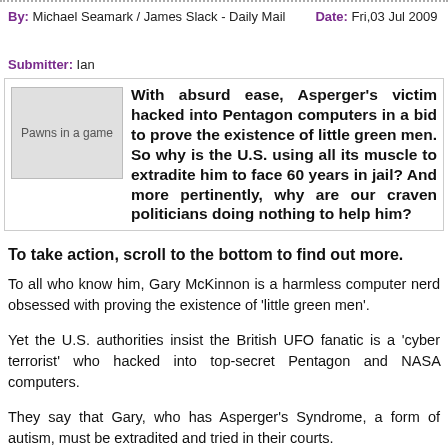By: Michael Seamark / James Slack - Daily Mail   Date: Fri,03 Jul 2009   Submitter: Ian
[Figure (photo): Image placeholder with caption 'Pawns in a game']
With absurd ease, Asperger's victim hacked into Pentagon computers in a bid to prove the existence of little green men. So why is the U.S. using all its muscle to extradite him to face 60 years in jail? And more pertinently, why are our craven politicians doing nothing to help him?
To take action, scroll to the bottom to find out more.
To all who know him, Gary McKinnon is a harmless computer nerd obsessed with proving the existence of 'little green men'.
Yet the U.S. authorities insist the British UFO fanatic is a 'cyber terrorist' who hacked into top-secret Pentagon and NASA computers.
They say that Gary, who has Asperger's Syndrome, a form of autism, must be extradited and tried in their courts.